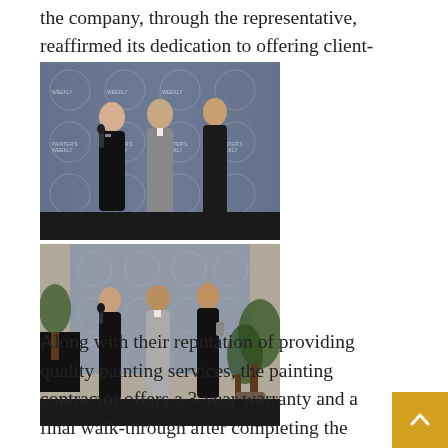the company, through the representative, reaffirmed its dedication to offering client-centered services.
[Figure (photo): Two photos stacked vertically showing three people at an award ceremony in front of a Painter's Weekly branded step-and-repeat backdrop. Top photo: man in dark suit holding microphone interviewing a man in gray suit and a woman in black dress. Bottom photo: same three people shaking hands, wider angle showing plants and event decor.]
Along with their reputation of providing quality painting services, the painting contractor offers a 3-year warranty and a final walk-through after completing the